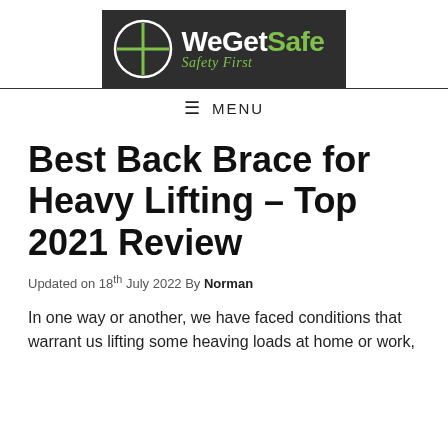[Figure (logo): WeGetSafe Safety First logo — dark background banner with white circle crosshair icon and text 'WeGetSafe' (white/green) and tagline 'Safety First' in green italic]
≡ MENU
Best Back Brace for Heavy Lifting – Top 2021 Review
Updated on 18th July 2022 By Norman
In one way or another, we have faced conditions that warrant us lifting some heaving loads at home or work,